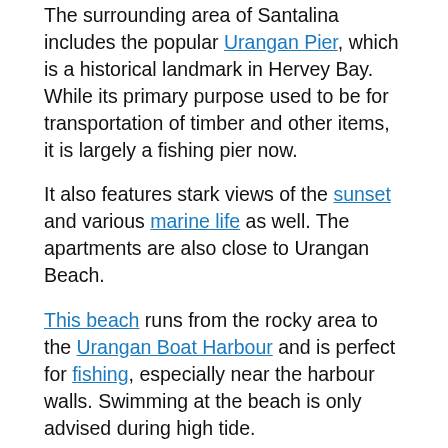The surrounding area of Santalina includes the popular Urangan Pier, which is a historical landmark in Hervey Bay. While its primary purpose used to be for transportation of timber and other items, it is largely a fishing pier now.
It also features stark views of the sunset and various marine life as well. The apartments are also close to Urangan Beach.
This beach runs from the rocky area to the Urangan Boat Harbour and is perfect for fishing, especially near the harbour walls. Swimming at the beach is only advised during high tide.
Other options include visiting local eateries for a bit